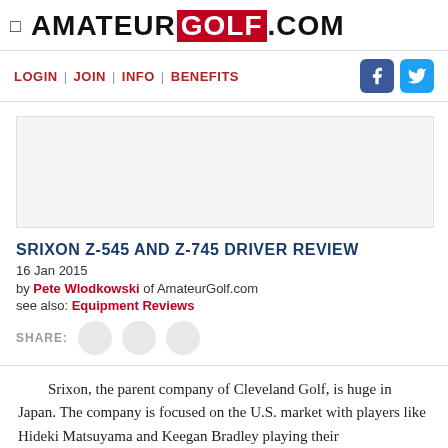AMATEUR GOLF .COM
LOGIN | JOIN | INFO | BENEFITS
[Figure (other): Advertisement placeholder area]
SRIXON Z-545 AND Z-745 DRIVER REVIEW
16 Jan 2015
by Pete Wlodkowski of AmateurGolf.com
see also: Equipment Reviews
SHARE:
Srixon, the parent company of Cleveland Golf, is huge in Japan. The company is focused on the U.S. market with players like Hideki Matsuyama and Keegan Bradley playing their